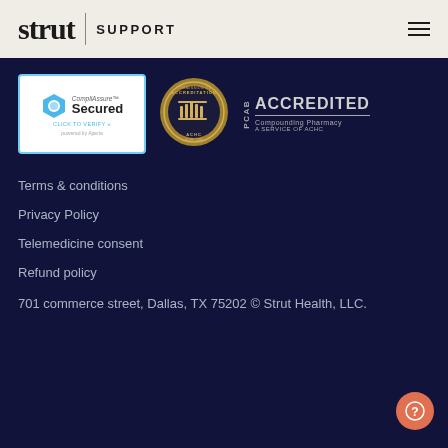strut | SUPPORT
[Figure (logo): CompliAssure Secured badge with blue hexagon icon and 'powered by Aperia' text]
[Figure (logo): ACHC circular gold seal]
[Figure (logo): PCAB Accredited Compounding Pharmacy - A Service of ACHC badge]
Terms & conditions
Privacy Policy
Telemedicine consent
Refund policy
701 commerce street, Dallas, TX 75202 © Strut Health, LLC.